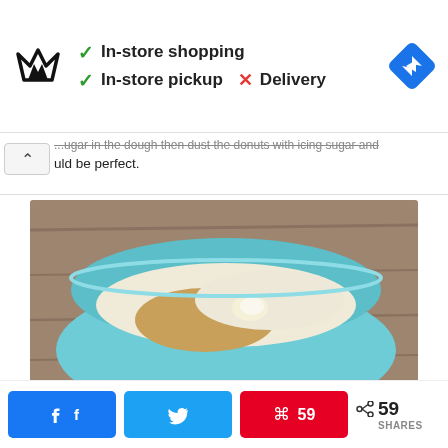[Figure (screenshot): Advertisement banner showing Under Armour logo with in-store shopping options: checkmark In-store shopping, checkmark In-store pickup, X Delivery, and a blue navigation/directions diamond icon on the right.]
...uld be perfect.
[Figure (photo): Photo of a light blue bowl on a wooden table containing dry ingredients: flour, brown sugar/fine crumbs, and a small piece of butter or dough in the center.]
59 SHARES — Facebook share button, Twitter share button, Pinterest 59 button, share icon with 59 SHARES